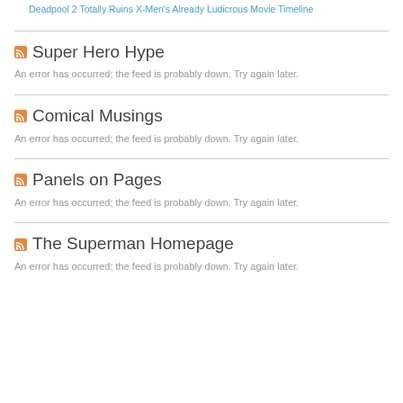Deadpool 2 Totally Ruins X-Men's Already Ludicrous Movie Timeline
Super Hero Hype
An error has occurred; the feed is probably down. Try again later.
Comical Musings
An error has occurred; the feed is probably down. Try again later.
Panels on Pages
An error has occurred; the feed is probably down. Try again later.
The Superman Homepage
An error has occurred; the feed is probably down. Try again later.